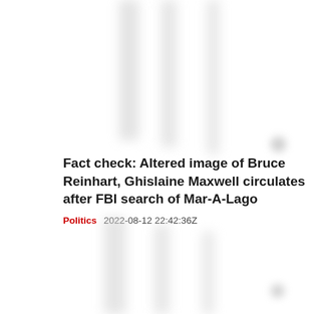Fact check: Altered image of Bruce Reinhart, Ghislaine Maxwell circulates after FBI search of Mar-A-Lago
Politics   2022-08-12 22:42:36Z